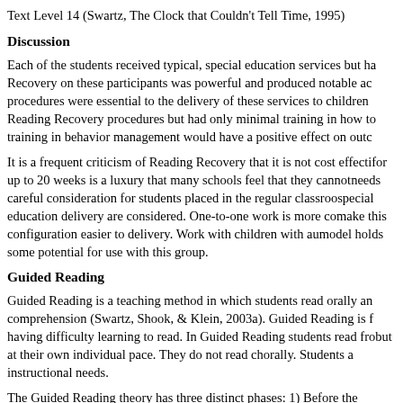Text Level 14 (Swartz, The Clock that Couldn't Tell Time, 1995)
Discussion
Each of the students received typical, special education services but ha... Recovery on these participants was powerful and produced notable ac... procedures were essential to the delivery of these services to children... Reading Recovery procedures but had only minimal training in how to... training in behavior management would have a positive effect on outc...
It is a frequent criticism of Reading Recovery that it is not cost effecti... for up to 20 weeks is a luxury that many schools feel that they cannot... needs careful consideration for students placed in the regular classroo... special education delivery are considered. One-to-one work is more co... make this configuration easier to delivery. Work with children with au... model holds some potential for use with this group.
Guided Reading
Guided Reading is a teaching method in which students read orally an... comprehension (Swartz, Shook, & Klein, 2003a). Guided Reading is f... having difficulty learning to read. In Guided Reading students read fro... but at their own individual pace. They do not read chorally. Students a... instructional needs.
The Guided Reading theory has three distinct phases: 1) Before the...